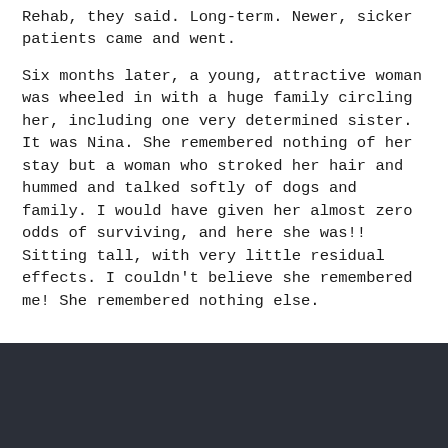Rehab, they said. Long-term. Newer, sicker patients came and went.
Six months later, a young, attractive woman was wheeled in with a huge family circling her, including one very determined sister. It was Nina. She remembered nothing of her stay but a woman who stroked her hair and hummed and talked softly of dogs and family. I would have given her almost zero odds of surviving, and here she was!! Sitting tall, with very little residual effects. I couldn't believe she remembered me! She remembered nothing else.